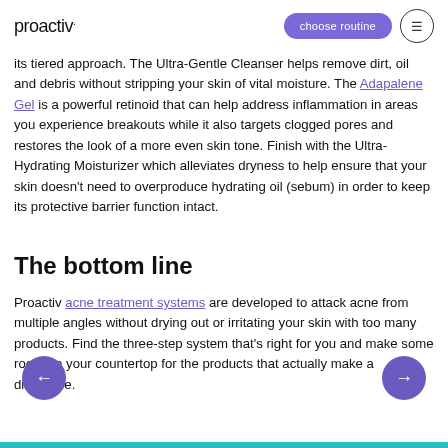proactiv.    choose routine  ☰
its tiered approach. The Ultra-Gentle Cleanser helps remove dirt, oil and debris without stripping your skin of vital moisture. The Adapalene Gel is a powerful retinoid that can help address inflammation in areas you experience breakouts while it also targets clogged pores and restores the look of a more even skin tone. Finish with the Ultra-Hydrating Moisturizer which alleviates dryness to help ensure that your skin doesn't need to overproduce hydrating oil (sebum) in order to keep its protective barrier function intact.
The bottom line
Proactiv acne treatment systems are developed to attack acne from multiple angles without drying out or irritating your skin with too many products. Find the three-step system that's right for you and make some room on your countertop for the products that actually make a difference.